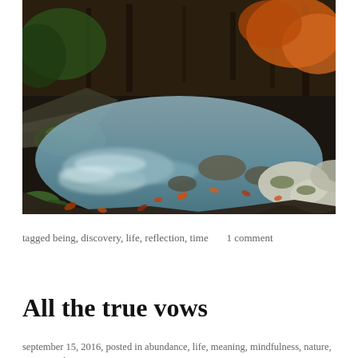[Figure (photo): Autumn forest stream with mossy rocks, colorful fallen leaves, and softly blurred flowing water surrounded by trees with fall foliage]
tagged being, discovery, life, reflection, time     1 comment
All the true vows
september 15, 2016, posted in abundance, life, meaning, mindfulness, nature, time, words